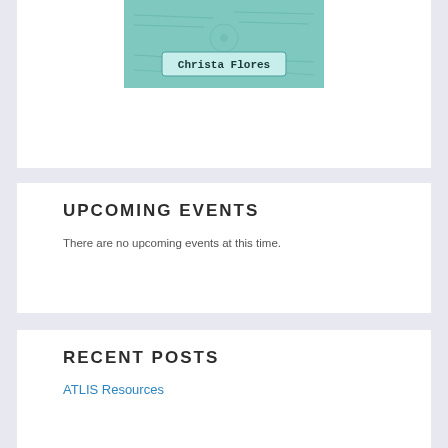[Figure (illustration): Book cover image for 'Making Science' by Christa Flores, teal/turquoise colored with handwritten style background drawings]
Making Science
UPCOMING EVENTS
There are no upcoming events at this time.
RECENT POSTS
ATLIS Resources